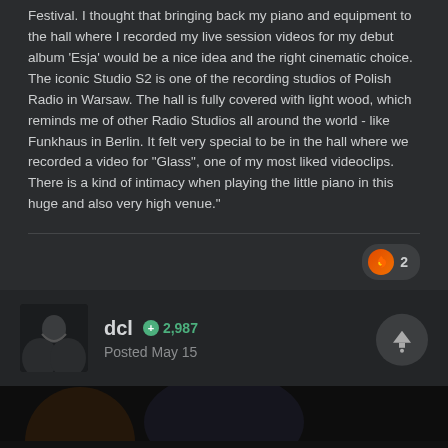Festival. I thought that bringing back my piano and equipment to the hall where I recorded my live session videos for my debut album 'Esja' would be a nice idea and the right cinematic choice. The iconic Studio S2 is one of the recording studios of Polish Radio in Warsaw. The hall is fully covered with light wood, which reminds me of other Radio Studios all around the world - like Funkhaus in Berlin. It felt very special to be in the hall where we recorded a video for "Glass", one of my most liked videoclips. There is a kind of intimacy when playing the little piano in this huge and also very high venue."
[Figure (infographic): Reaction badge showing a flame/like icon with count of 2]
[Figure (photo): User avatar thumbnail - dark image showing a figure]
dcl  +2,987
Posted May 15
[Figure (photo): Partial image preview at bottom of page - dark toned image]